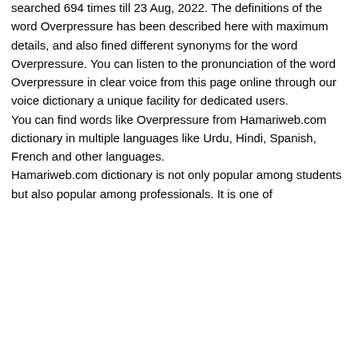searched 694 times till 23 Aug, 2022. The definitions of the word Overpressure has been described here with maximum details, and also fined different synonyms for the word Overpressure. You can listen to the pronunciation of the word Overpressure in clear voice from this page online through our voice dictionary a unique facility for dedicated users.
You can find words like Overpressure from Hamariweb.com dictionary in multiple languages like Urdu, Hindi, Spanish, French and other languages.
Hamariweb.com dictionary is not only popular among students but also popular among professionals. It is one of